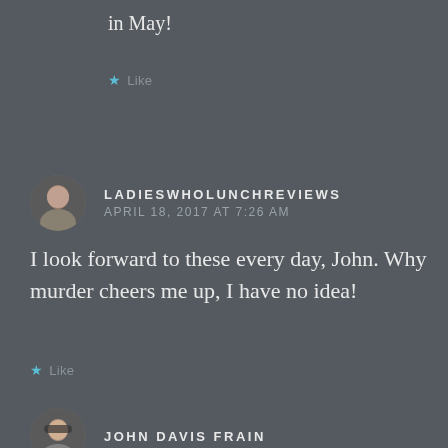in May!
★ Like
LADIESWHOLUNCHREVIEWS
APRIL 18, 2017 AT 7:26 AM
I look forward to these every day, John. Why murder cheers me up, I have no idea!
★ Like
JOHN DAVIS FRAIN